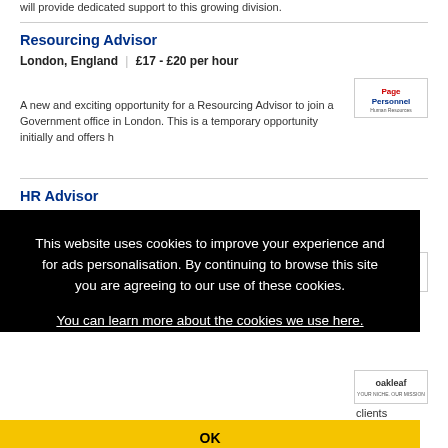will provide dedicated support to this growing division.
Resourcing Advisor
London, England | £17 - £20 per hour
[Figure (logo): Page Personnel logo]
A new and exciting opportunity for a Resourcing Advisor to join a Government office in London. This is a temporary opportunity initially and offers h
HR Advisor
London, England | £15 - £20 per hour
[Figure (logo): Page Personnel logo]
This is
[Figure (logo): Oakleaf logo]
clients offices
This website uses cookies to improve your experience and for ads personalisation. By continuing to browse this site you are agreeing to our use of these cookies. You can learn more about the cookies we use here.
OK